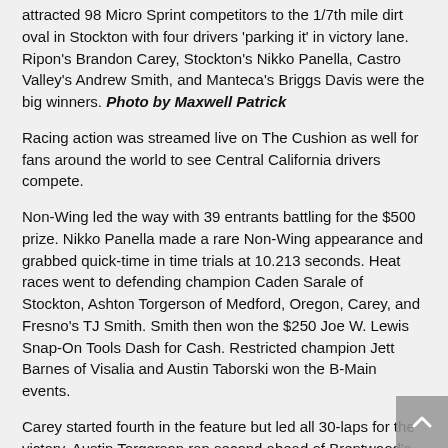attracted 98 Micro Sprint competitors to the 1/7th mile dirt oval in Stockton with four drivers 'parking it' in victory lane. Ripon's Brandon Carey, Stockton's Nikko Panella, Castro Valley's Andrew Smith, and Manteca's Briggs Davis were the big winners. Photo by Maxwell Patrick
Racing action was streamed live on The Cushion as well for fans around the world to see Central California drivers compete.
Non-Wing led the way with 39 entrants battling for the $500 prize. Nikko Panella made a rare Non-Wing appearance and grabbed quick-time in time trials at 10.213 seconds. Heat races went to defending champion Caden Sarale of Stockton, Ashton Torgerson of Medford, Oregon, Carey, and Fresno's TJ Smith. Smith then won the $250 Joe W. Lewis Snap-On Tools Dash for Cash. Restricted champion Jett Barnes of Visalia and Austin Taborski won the B-Main events.
Carey started fourth in the feature but led all 30-laps for the victory. Austin Torgerson ran second ahead of Brentwood's Jeffrey Pahule, Jr., Ashton Torgerson, and Smith.
Panella did not earn fast-time in Super 600, with those honors going to Fresno's Cody Key at 10.145 seconds. Nikko and older brother Alex Panella grabbed heat race wins as did Pahule. The